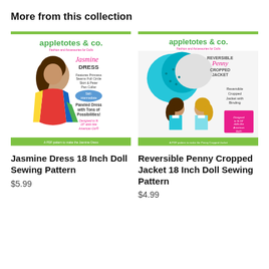More from this collection
[Figure (illustration): Product cover for Jasmine Dress 18 Inch Doll Sewing Pattern by appletotes & co. Shows a doll wearing a colorful paneled dress with text: Jasmine Dress, Features Princess Seams Full Circle Skirt & Peter Pan Collar, Skill: intermediate, Paneled Dress with Tons of Possibilities!, Designed to fit 18' dolls like American Girl®. A PDF pattern to make the Jasmine Dress.]
[Figure (illustration): Product cover for Reversible Penny Cropped Jacket 18 Inch Doll Sewing Pattern by appletotes & co. Shows fabric swatches and two dolls wearing the jacket with text: REVERSIBLE Penny CROPPED JACKET, Reversible Cropped Jacket with Binding, Designed to fit 18' dolls like American Girl®. A PDF pattern to make the Penny Cropped Jacket.]
Jasmine Dress 18 Inch Doll Sewing Pattern
$5.99
Reversible Penny Cropped Jacket 18 Inch Doll Sewing Pattern
$4.99